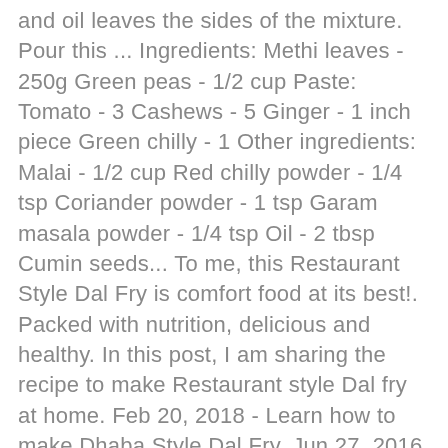and oil leaves the sides of the mixture. Pour this ... Ingredients: Methi leaves - 250g Green peas - 1/2 cup Paste: Tomato - 3 Cashews - 5 Ginger - 1 inch piece Green chilly - 1 Other ingredients: Malai - 1/2 cup Red chilly powder - 1/4 tsp Coriander powder - 1 tsp Garam masala powder - 1/4 tsp Oil - 2 tbsp Cumin seeds... To me, this Restaurant Style Dal Fry is comfort food at its best!. Packed with nutrition, delicious and healthy. In this post, I am sharing the recipe to make Restaurant style Dal fry at home. Feb 20, 2018 - Learn how to make Dhaba Style Dal Fry. Jun 27, 2016 - Learn how to make Dhaba Style Dal Fry. Jul 30, 2019 - This Pin was discovered by Patricia Fischer. This dal is inspired from the dals served at Punjabi dhabas. While traditional Punjabi cuisine is rich and robust, nothing comes close to the bold and flavourful dal tadka, a yellow dal spiced with a tempering (tadka) of garlic, hing, dry red chilli, mustard and cumin seeds. How to Make Dhaba st...